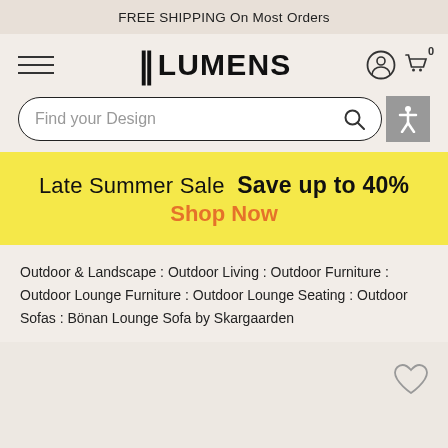FREE SHIPPING On Most Orders
[Figure (logo): Lumens logo with bracket character and bold uppercase text LUMENS, hamburger menu icon, user account icon, and shopping cart icon with 0 badge]
Find your Design
Late Summer Sale  Save up to 40%
Shop Now
Outdoor & Landscape : Outdoor Living : Outdoor Furniture : Outdoor Lounge Furniture : Outdoor Lounge Seating : Outdoor Sofas : Bönan Lounge Sofa by Skargaarden